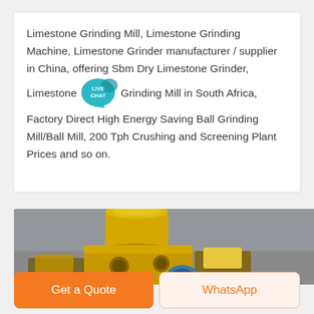Limestone Grinding Mill, Limestone Grinding Machine, Limestone Grinder manufacturer / supplier in China, offering Sbm Dry Limestone Grinder, Limestone Grinding Mill in South Africa, Factory Direct High Energy Saving Ball Grinding Mill/Ball Mill, 200 Tph Crushing and Screening Plant Prices and so on.
[Figure (photo): Yellow industrial grinding/crushing machine equipment photographed outdoors]
Get a Quote
WhatsApp